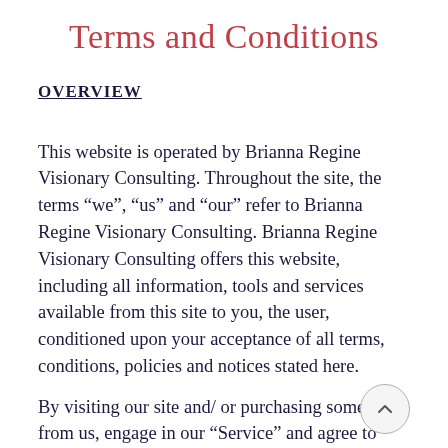Terms and Conditions
OVERVIEW
This website is operated by Brianna Regine Visionary Consulting. Throughout the site, the terms “we”, “us” and “our” refer to Brianna Regine Visionary Consulting. Brianna Regine Visionary Consulting offers this website, including all information, tools and services available from this site to you, the user, conditioned upon your acceptance of all terms, conditions, policies and notices stated here.
By visiting our site and/ or purchasing something from us, engage in our “Service” and agree to